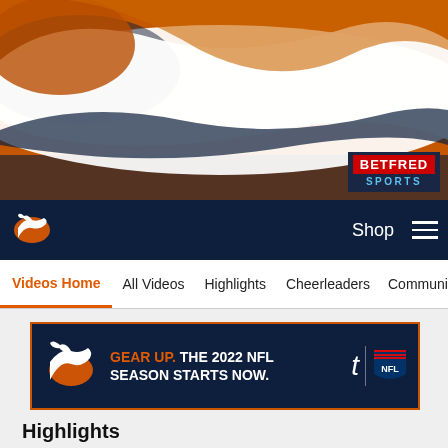[Figure (illustration): Denver Broncos orange and navy hero banner with horse/bronco logo graphic in orange and white]
[Figure (logo): Betfred Sports sponsor badge — red block with BETFRED in white bold text, SPORTS in blue text below, on navy background]
[Figure (logo): Denver Broncos small horse logo in white on navy navigation bar]
Shop
Videos Home | All Videos | Highlights | Cheerleaders | Community
[Figure (infographic): Ad banner on dark navy background with orange border. Denver Broncos logo on left, text: GEAR UP. THE 2022 NFL SEASON STARTS NOW. with Ticketmaster t logo and NFL shield logo on right.]
Highlights
[Figure (photo): Black video thumbnail placeholder]